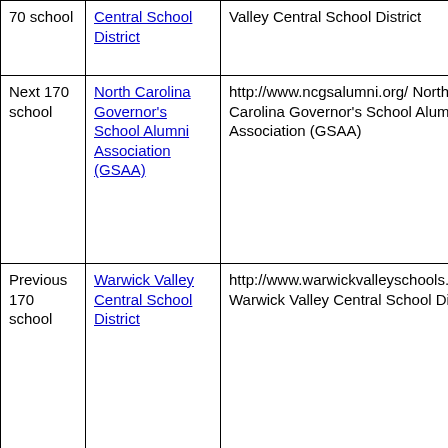| 70 school | Central School District | Valley Central School District |
| Next 170 school | North Carolina Governor's School Alumni Association (GSAA) | http://www.ncgsalumni.org/ North Carolina Governor's School Alumni Association (GSAA) |
| Previous 170 school | Warwick Valley Central School District | http://www.warwickvalleyschools.com/ Warwick Valley Central School District |
link to main page of directory